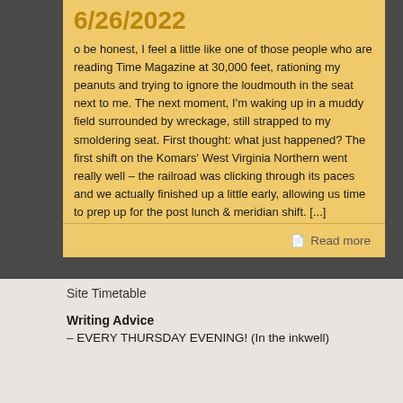6/26/2022
o be honest, I feel a little like one of those people who are reading Time Magazine at 30,000 feet, rationing my peanuts and trying to ignore the loudmouth in the seat next to me. The next moment, I'm waking up in a muddy field surrounded by wreckage, still strapped to my smoldering seat. First thought: what just happened? The first shift on the Komars' West Virginia Northern went really well – the railroad was clicking through its paces and we actually finished up a little early, allowing us time to prep up for the post lunch & meridian shift. [...]
Read more
Site Timetable
Writing Advice
– EVERY THURSDAY EVENING! (In the inkwell)